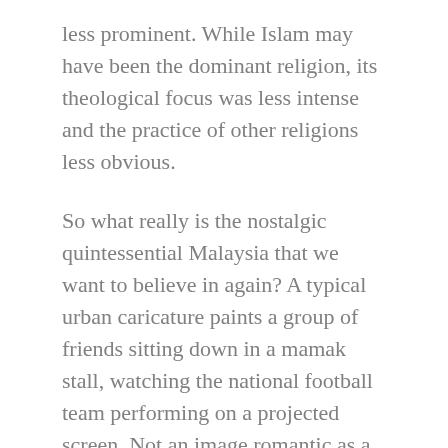less prominent. While Islam may have been the dominant religion, its theological focus was less intense and the practice of other religions less obvious.
So what really is the nostalgic quintessential Malaysia that we want to believe in again? A typical urban caricature paints a group of friends sitting down in a mamak stall, watching the national football team performing on a projected screen. Not an image romantic as a village full of caring neighbours, but close enough.
Perhaps the fruitless search for it is what’s stopping us from charting a new national agenda, among the